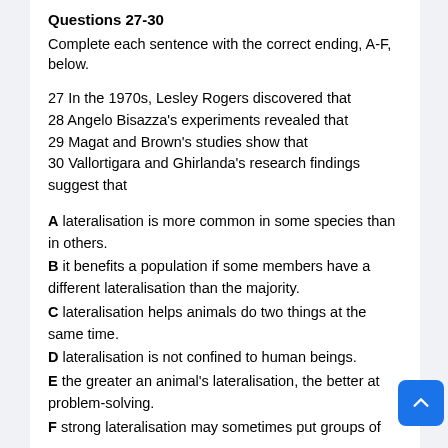Questions 27-30
Complete each sentence with the correct ending, A-F, below.
27 In the 1970s, Lesley Rogers discovered that
28 Angelo Bisazza's experiments revealed that
29 Magat and Brown's studies show that
30 Vallortigara and Ghirlanda's research findings suggest that
A lateralisation is more common in some species than in others.
B it benefits a population if some members have a different lateralisation than the majority.
C lateralisation helps animals do two things at the same time.
D lateralisation is not confined to human beings.
E the greater an animal's lateralisation, the better at problem-solving.
F strong lateralisation may sometimes put groups of